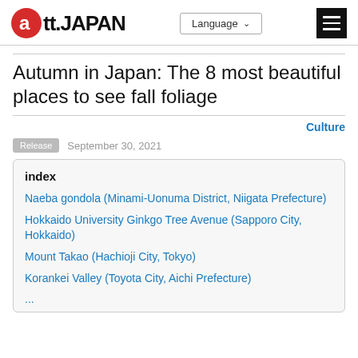att.JAPAN | Language | menu
Autumn in Japan: The 8 most beautiful places to see fall foliage
Culture
Release  September 30, 2021
Naeba gondola (Minami-Uonuma District, Niigata Prefecture)
Hokkaido University Ginkgo Tree Avenue (Sapporo City, Hokkaido)
Mount Takao (Hachioji City, Tokyo)
Korankei Valley (Toyota City, Aichi Prefecture)
...